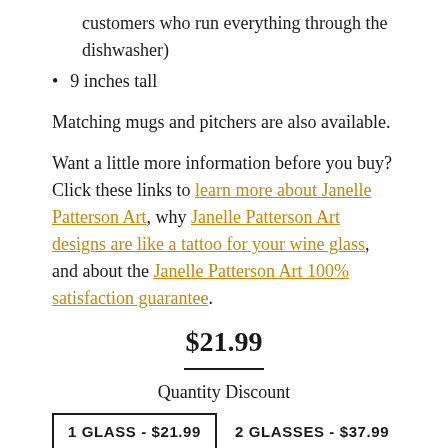customers who run everything through the dishwasher)
9 inches tall
Matching mugs and pitchers are also available.
Want a little more information before you buy? Click these links to learn more about Janelle Patterson Art, why Janelle Patterson Art designs are like a tattoo for your wine glass, and about the Janelle Patterson Art 100% satisfaction guarantee.
$21.99
Quantity Discount
1 GLASS - $21.99   2 GLASSES - $37.99